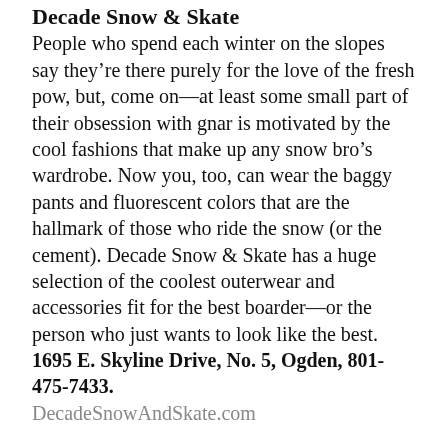Decade Snow & Skate
People who spend each winter on the slopes say they're there purely for the love of the fresh pow, but, come on—at least some small part of their obsession with gnar is motivated by the cool fashions that make up any snow bro's wardrobe. Now you, too, can wear the baggy pants and fluorescent colors that are the hallmark of those who ride the snow (or the cement). Decade Snow & Skate has a huge selection of the coolest outerwear and accessories fit for the best boarder—or the person who just wants to look like the best.
1695 E. Skyline Drive, No. 5, Ogden, 801-475-7433.
DecadeSnowAndSkate.com
Best Sleep Relief
Elite Sheets
Ever tried getting a good night's sleep when you